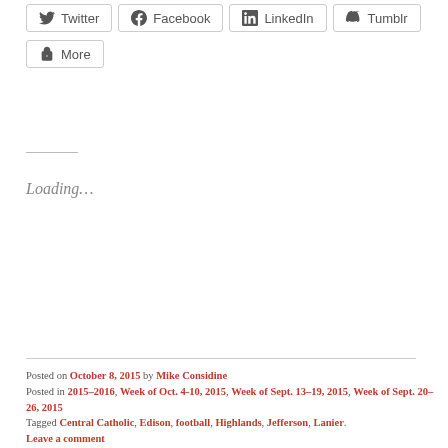[Figure (other): Social sharing buttons: Twitter, Facebook, LinkedIn, Tumblr, More]
Loading...
Posted on October 8, 2015 by Mike Considine
Posted in 2015–2016, Week of Oct. 4-10, 2015, Week of Sept. 13–19, 2015, Week of Sept. 20–26, 2015
Tagged Central Catholic, Edison, football, Highlands, Jefferson, Lanier.
Leave a comment
FOOTBALL: Harlandale vs. Highlands at Alamo Stadium photo gallery